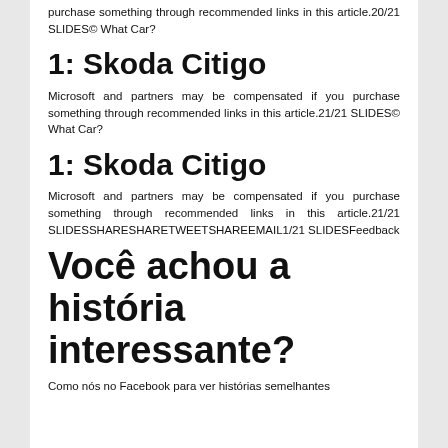purchase something through recommended links in this article.20/21 SLIDES© What Car?
1: Skoda Citigo
Microsoft and partners may be compensated if you purchase something through recommended links in this article.21/21 SLIDES© What Car?
1: Skoda Citigo
Microsoft and partners may be compensated if you purchase something through recommended links in this article.21/21 SLIDESSHARESHARETWEETSHAREEMAIL1/21 SLIDESFeedback
Você achou a história interessante?
Como nós no Facebook para ver histórias semelhantes